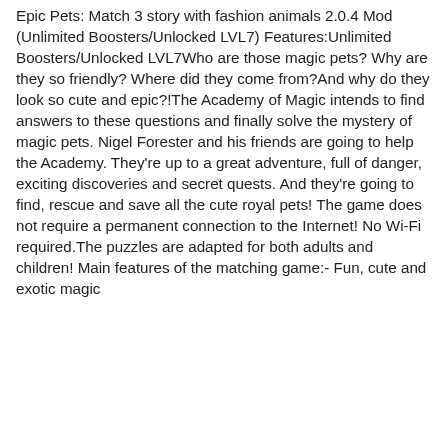Epic Pets: Match 3 story with fashion animals 2.0.4 Mod (Unlimited Boosters/Unlocked LVL7) Features:Unlimited Boosters/Unlocked LVL7Who are those magic pets? Why are they so friendly? Where did they come from?And why do they look so cute and epic?!The Academy of Magic intends to find answers to these questions and finally solve the mystery of magic pets. Nigel Forester and his friends are going to help the Academy. They're up to a great adventure, full of danger, exciting discoveries and secret quests. And they're going to find, rescue and save all the cute royal pets! The game does not require a permanent connection to the Internet! No Wi-Fi required.The puzzles are adapted for both adults and children! Main features of the matching game:- Fun, cute and exotic magic